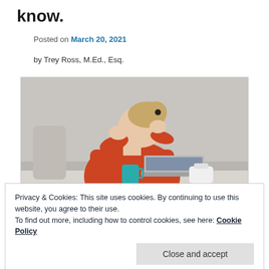know.
Posted on March 20, 2021
by Trey Ross, M.Ed., Esq.
[Figure (photo): Woman in a red shirt sitting at a desk, head in hands, looking stressed, with a laptop, teal mug, and white bottle on the desk.]
Privacy & Cookies: This site uses cookies. By continuing to use this website, you agree to their use.
To find out more, including how to control cookies, see here: Cookie Policy
couple of degrees and I write well, I think I can draft and